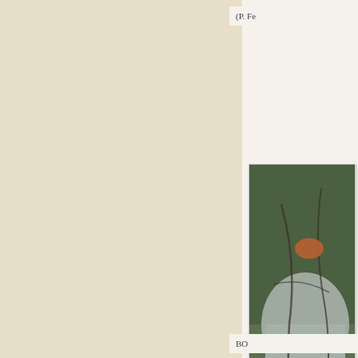(P. Fe
[Figure (photo): A weathered stone grave marker partially obscured by vines and foliage. Visible text on the stone reads: 'TH V', 'BOR', 'KI', 'AU', and partially visible numbers/letters below. The stone is grey and cracked, set against green vegetation.]
BO